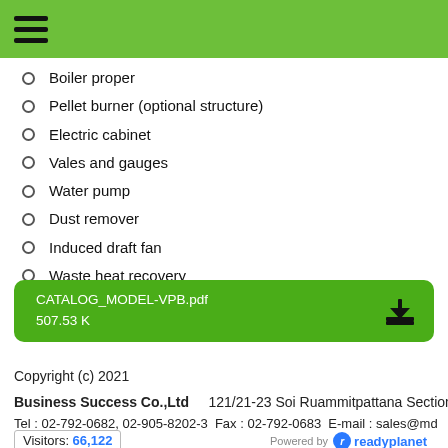[Figure (other): Green header bar with hamburger menu icon (three horizontal lines)]
Boiler proper
Pellet burner (optional structure)
Electric cabinet
Vales and gauges
Water pump
Dust remover
Induced draft fan
Waste heat recovery
Water softener
[Figure (other): Green download button showing CATALOG_MODEL-VPB.pdf, 507.53 K with a download icon]
Copyright (c) 2021
Business Success Co.,Ltd   121/21-23 Soi Ruammitpattana Section 3
Tel : 02-792-0682, 02-905-8202-3   Fax : 02-792-0683   E-mail : sales@md
Visitors: 66,122   Powered by readyplanet